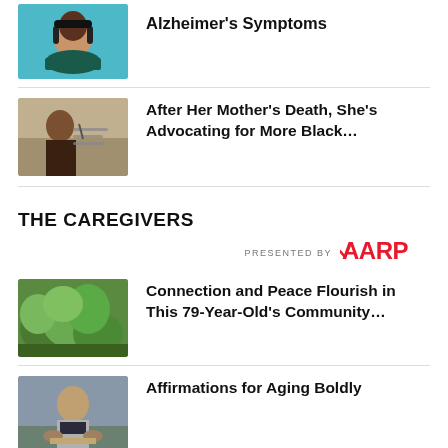[Figure (photo): Person wearing headphones with teal background]
Alzheimer's Symptoms
[Figure (photo): Person writing at a desk]
After Her Mother's Death, She's Advocating for More Black…
THE CAREGIVERS
PRESENTED BY AARP
[Figure (photo): Green plants and garden]
Connection and Peace Flourish in This 79-Year-Old's Community…
[Figure (photo): Older man sitting outdoors]
Affirmations for Aging Boldly
[Figure (photo): Light colored bag or living space item]
Yes, Your Living Space Can Be a…